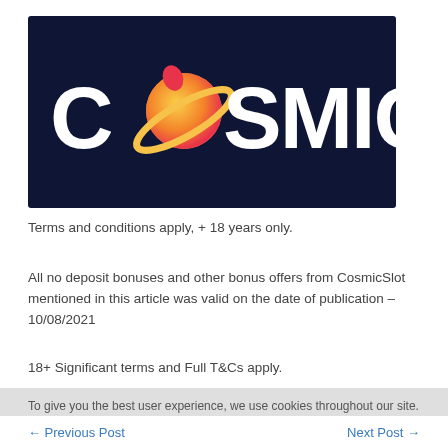[Figure (logo): CosmicSlot casino logo: white text 'COSMIC' on dark navy background with a planet/Saturn icon replacing the letter O]
Terms and conditions apply, + 18 years only.
All no deposit bonuses and other bonus offers from CosmicSlot mentioned in this article was valid on the date of publication – 10/08/2021
18+ Significant terms and Full T&Cs apply.
To give you the best user experience, we use cookies throughout our site. Using this site, means you agree to our privacy & cookie policy.
← Previous Post    Next Post →